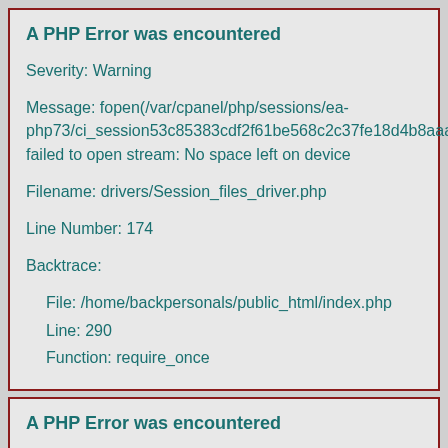A PHP Error was encountered
Severity: Warning
Message: fopen(/var/cpanel/php/sessions/ea-php73/ci_session53c85383cdf2f61be568c2c37fe18d4b8aaa failed to open stream: No space left on device
Filename: drivers/Session_files_driver.php
Line Number: 174
Backtrace:
File: /home/backpersonals/public_html/index.php
Line: 290
Function: require_once
A PHP Error was encountered